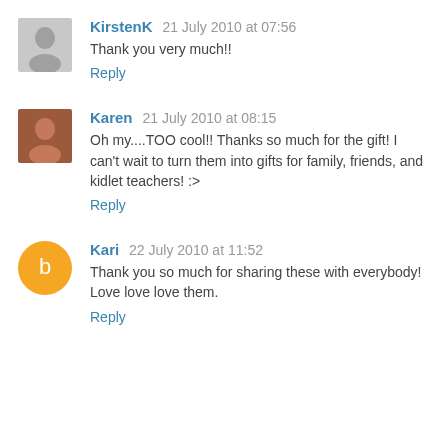KirstenK 21 July 2010 at 07:56
Thank you very much!!
Reply
Karen 21 July 2010 at 08:15
Oh my....TOO cool!! Thanks so much for the gift! I can't wait to turn them into gifts for family, friends, and kidlet teachers! :>
Reply
Kari 22 July 2010 at 11:52
Thank you so much for sharing these with everybody! Love love love them.
Reply